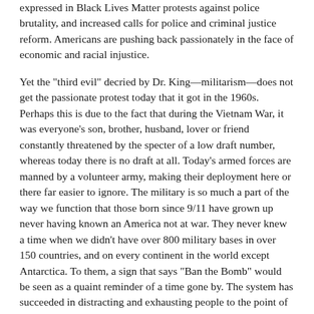expressed in Black Lives Matter protests against police brutality, and increased calls for police and criminal justice reform. Americans are pushing back passionately in the face of economic and racial injustice.
Yet the "third evil" decried by Dr. King—militarism—does not get the passionate protest today that it got in the 1960s. Perhaps this is due to the fact that during the Vietnam War, it was everyone's son, brother, husband, lover or friend constantly threatened by the specter of a low draft number, whereas today there is no draft at all. Today's armed forces are manned by a volunteer army, making their deployment here or there far easier to ignore. The military is so much a part of the way we function that those born since 9/11 have grown up never having known an America not at war. They never knew a time when we didn't have over 800 military bases in over 150 countries, and on every continent in the world except Antarctica. To them, a sign that says "Ban the Bomb" would be seen as a quaint reminder of a time gone by. The system has succeeded in distracting and exhausting people to the point of acquiescence. All they have to do is tell us we're leaving Afghanistan, and we're too distracted to ask then why they're still spending all that money.